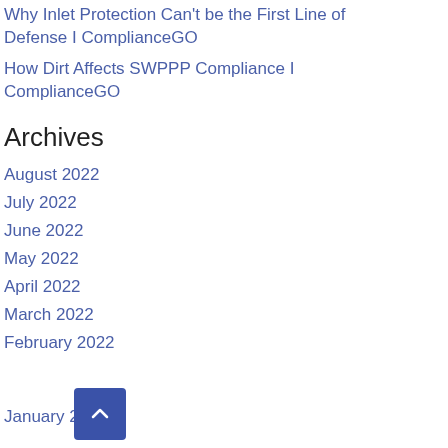Why Inlet Protection Can't be the First Line of Defense I ComplianceGO
How Dirt Affects SWPPP Compliance I ComplianceGO
Archives
August 2022
July 2022
June 2022
May 2022
April 2022
March 2022
February 2022
January 2022